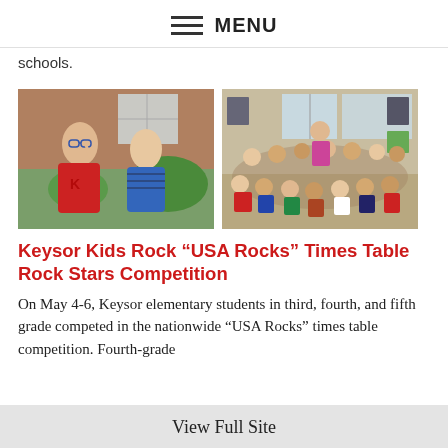MENU
schools.
[Figure (photo): Two children smiling and posing outdoors in front of a brick wall with greenery; one wearing a red shirt and glasses, the other wearing a blue striped shirt.]
[Figure (photo): Large group of elementary school students sitting together on the floor inside a room, posing for a group photo.]
Keysor Kids Rock “USA Rocks” Times Table Rock Stars Competition
On May 4-6, Keysor elementary students in third, fourth, and fifth grade competed in the nationwide “USA Rocks” times table competition. Fourth-grade
View Full Site